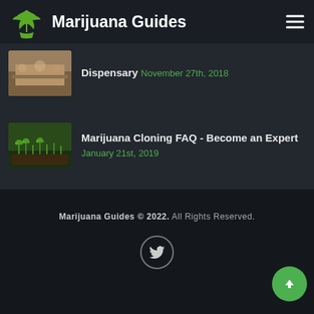Marijuana Guides
Dispensary November 27th, 2018
Marijuana Cloning FAQ - Become an Expert January 21st, 2019
Marijuana Guides © 2022. All Rights Reserved.